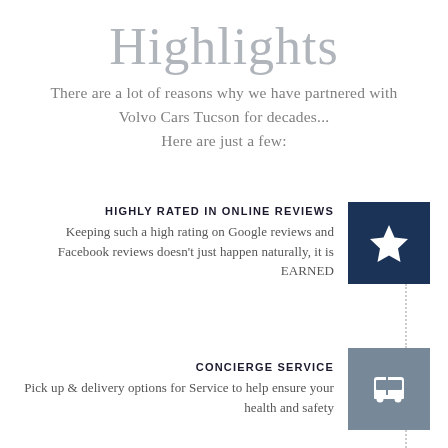Highlights
There are a lot of reasons why we have partnered with Volvo Cars Tucson for decades... Here are just a few:
HIGHLY RATED IN ONLINE REVIEWS
Keeping such a high rating on Google reviews and Facebook reviews doesn't just happen naturally, it is EARNED
[Figure (illustration): Dark navy square icon with a white star symbol]
CONCIERGE SERVICE
Pick up & delivery options for Service to help ensure your health and safety
[Figure (illustration): Gray square icon with a white bus/vehicle symbol]